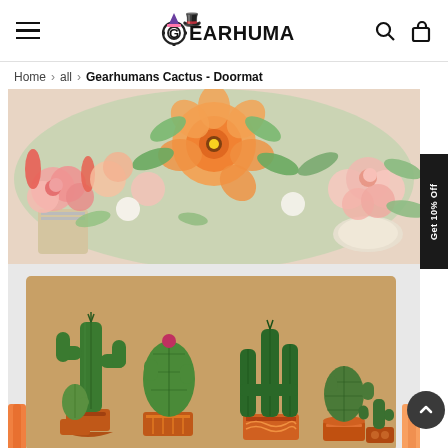Gearhumans (navigation header with hamburger menu, logo, search and bag icons)
Home > all > Gearhumans Cactus - Doormat
[Figure (photo): Product page image showing a Gearhumans Cactus doormat. Top half shows floral arrangement with pink roses, orange poppies, and green leaves in white vases on a white brick background. Bottom half shows a natural coir doormat with illustrated cactus plants in colorful pots arranged in a row, photographed on a white surface with colorful tassels. A 'Get 10% Off' tab appears on the right edge and a scroll-to-top arrow button is in the lower right.]